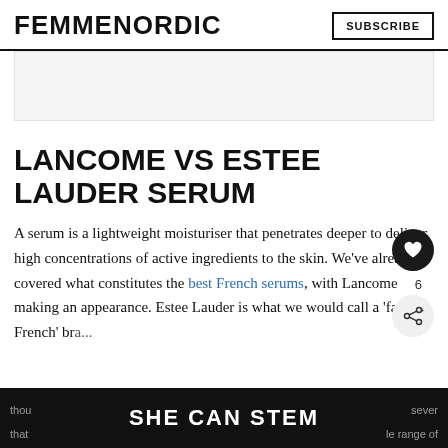FEMMENORDIC | SUBSCRIBE
[Figure (other): Advertisement banner placeholder, light grey background]
LANCOME VS ESTEE LAUDER SERUM
A serum is a lightweight moisturiser that penetrates deeper to deliver high concentrations of active ingredients to the skin. We've already covered what constitutes the best French serums, with Lancome making an appearance. Estee Lauder is what we would call a 'faux French' br...
SHE CAN STEM